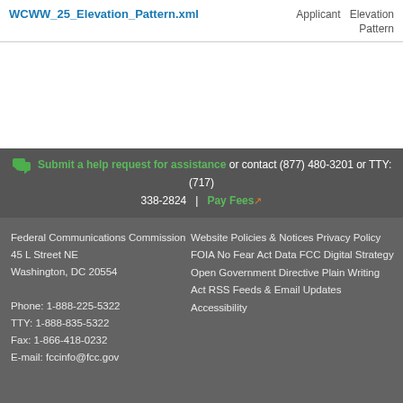WCWW_25_Elevation_Pattern.xml    Applicant    Elevation Pattern
Submit a help request for assistance or contact (877) 480-3201 or TTY: (717) 338-2824 | Pay Fees
Federal Communications Commission
45 L Street NE
Washington, DC 20554

Phone: 1-888-225-5322
TTY: 1-888-835-5322
Fax: 1-866-418-0232
E-mail: fccinfo@fcc.gov
Website Policies & Notices
Privacy Policy
FOIA
No Fear Act Data
FCC Digital Strategy
Open Government Directive
Plain Writing Act
RSS Feeds & Email Updates
Accessibility